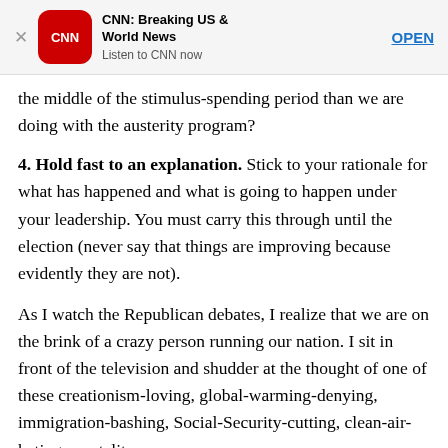[Figure (other): CNN Breaking US & World News app advertisement banner with CNN logo, app name, tagline 'Listen to CNN now', and OPEN button]
the middle of the stimulus-spending period than we are doing with the austerity program?
4. Hold fast to an explanation. Stick to your rationale for what has happened and what is going to happen under your leadership. You must carry this through until the election (never say that things are improving because evidently they are not).
As I watch the Republican debates, I realize that we are on the brink of a crazy person running our nation. I sit in front of the television and shudder at the thought of one of these creationism-loving, global-warming-denying, immigration-bashing, Social-Security-cutting, clean-air-hating, mortality-